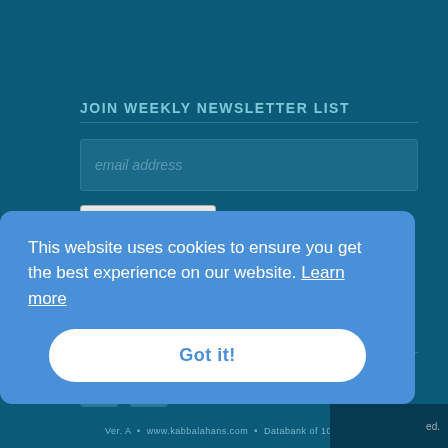JOIN WEEKLY NEWSLETTER LIST
email address
SUBSCRIBE
SOCIAL NETWORKS
[Figure (screenshot): Cookie consent banner overlay with text: 'This website uses cookies to ensure you get the best experience on our website. Learn more' and a 'Got it!' button]
Ver. A  •  www.kabbalahans.com  •  Databank of 1011